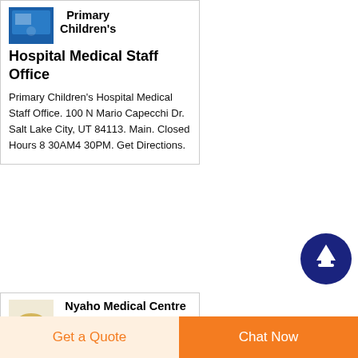Primary Children's Hospital Medical Staff Office
Primary Children's Hospital Medical Staff Office. 100 N Mario Capecchi Dr. Salt Lake City, UT 84113. Main. Closed Hours 8 30AM4 30PM. Get Directions.
[Figure (logo): Primary Children's Hospital logo - blue square icon]
[Figure (illustration): Scroll to top button - dark blue circle with upward arrow]
Nyaho Medical Centre opens new primary care centre
[Figure (logo): Nyaho Medical Centre logo - fish icon on light background]
Get a Quote
Chat Now